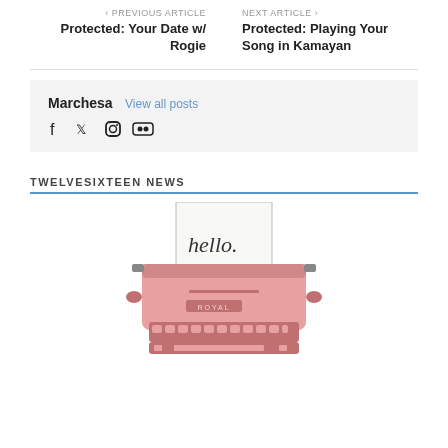< PREVIOUS ARTICLE
Protected: Your Date w/ Rogie     NEXT ARTICLE >
Protected: Playing Your Song in Kamayan
Marchesa  View all posts
[Figure (illustration): Social media icons: Facebook, Twitter, Instagram, Flickr]
TWELVESIXTEEN NEWS
[Figure (illustration): Illustration of a pink Royal typewriter with a sheet of paper showing the word 'hello' in cursive script]